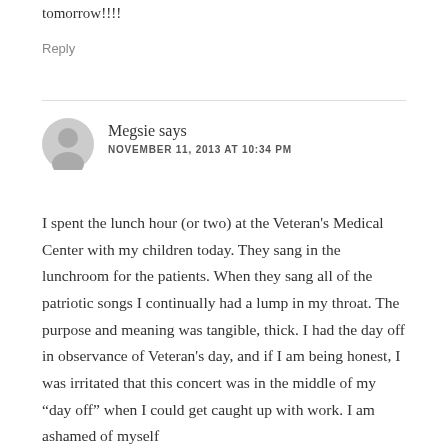tomorrow!!!!
Reply
Megsie says
NOVEMBER 11, 2013 AT 10:34 PM
I spent the lunch hour (or two) at the Veteran's Medical Center with my children today. They sang in the lunchroom for the patients. When they sang all of the patriotic songs I continually had a lump in my throat. The purpose and meaning was tangible, thick. I had the day off in observance of Veteran's day, and if I am being honest, I was irritated that this concert was in the middle of my “day off” when I could get caught up with work. I am ashamed of myself